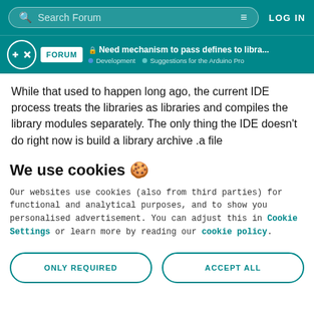Search Forum | LOG IN
Need mechanism to pass defines to libra... | Development | Suggestions for the Arduino Pro
While that used to happen long ago, the current IDE process treats the libraries as libraries and compiles the library modules separately. The only thing the IDE doesn't do right now is build a library archive .a file
We use cookies 🍪
Our websites use cookies (also from third parties) for functional and analytical purposes, and to show you personalised advertisement. You can adjust this in Cookie Settings or learn more by reading our cookie policy.
ONLY REQUIRED | ACCEPT ALL